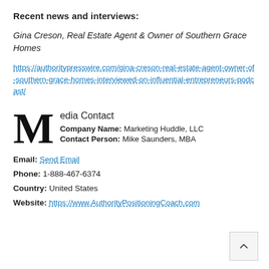Recent news and interviews:
Gina Creson, Real Estate Agent & Owner of Southern Grace Homes
https://authoritypresswire.com/gina-creson-real-estate-agent-owner-of-southern-grace-homes-interviewed-on-influential-entrepreneurs-podcast/
Media Contact
Company Name: Marketing Huddle, LLC
Contact Person: Mike Saunders, MBA
Email: Send Email
Phone: 1-888-467-6374
Country: United States
Website: https://www.AuthorityPositioningCoach.com